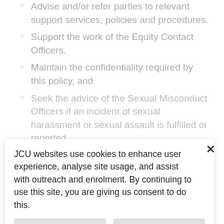Advise and/or refer parties to relevant support services, policies and procedures.
Support the work of the Equity Contact Officers.
Maintain the confidentiality required by this policy, and
Seek the advice of the Sexual Misconduct Officers if an incident of sexual harassment or sexual assault is fulfilled or reported.
4.5 [section heading partially visible] accountabilities and responsibilities identified within other JCU policies and procedures, and facilitate the provision of education and information to discourage bullying, discrimination and harassment.
JCU websites use cookies to enhance user experience, analyse site usage, and assist with outreach and enrolment. By continuing to use this site, you are giving us consent to do this.